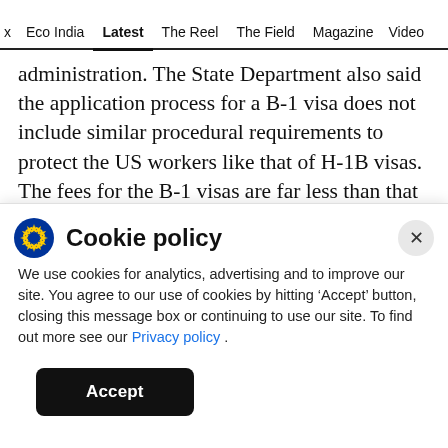x  Eco India  Latest  The Reel  The Field  Magazine  Video
administration. The State Department also said the application process for a B-1 visa does not include similar procedural requirements to protect the US workers like that of H-1B visas. The fees for the B-1 visas are far less than that of H-1B visas, it said.
“If the architects who intended to perform skilled labour were ‘of distinguished merit and
Cookie policy
We use cookies for analytics, advertising and to improve our site. You agree to our use of cookies by hitting ‘Accept’ button, closing this message box or continuing to use our site. To find out more see our Privacy policy .
Accept